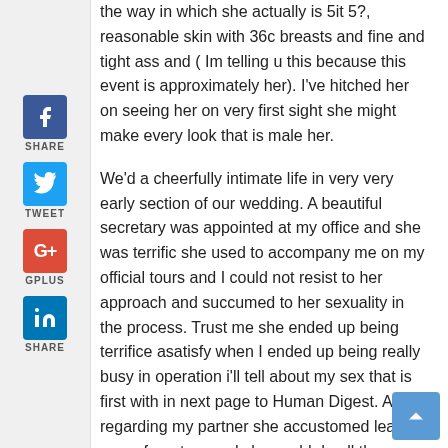the way in which she actually is 5it 5?, reasonable skin with 36c breasts and fine and tight ass and ( Im telling u this because this event is approximately her). I've hitched her on seeing her on very first sight she might make every look that is male her.
We'd a cheerfully intimate life in very very early section of our wedding. A beautiful secretary was appointed at my office and she was terrific she used to accompany me on my official tours and I could not resist to her approach and succumed to her sexuality in the process. Trust me she ended up being terrifice asatisfy when I ended up being really busy in operation i'll tell about my sex that is first with in next page to Human Digest. And regarding my partner she accustomed leap I came from tour and she could do all the attempts to raise a hardon, but after a tiresome sex with my sexy secretary and a busy official work I could not satisfy her over me when. This left her in madness and utilized to battle with me. In those times one day my buddy